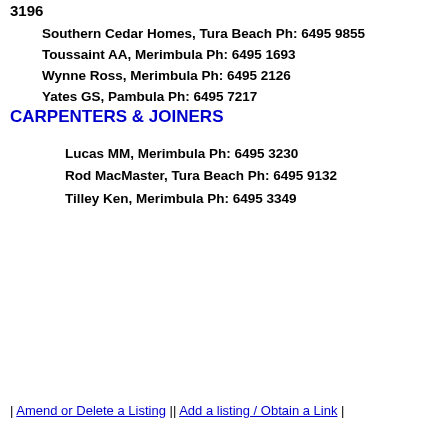3196
Southern Cedar Homes, Tura Beach Ph: 6495 9855
Toussaint AA, Merimbula Ph: 6495 1693
Wynne Ross, Merimbula Ph: 6495 2126
Yates GS, Pambula Ph: 6495 7217
CARPENTERS & JOINERS
Lucas MM, Merimbula Ph: 6495 3230
Rod MacMaster, Tura Beach Ph: 6495 9132
Tilley Ken, Merimbula Ph: 6495 3349
| Amend or Delete a Listing || Add a listing / Obtain a Link |